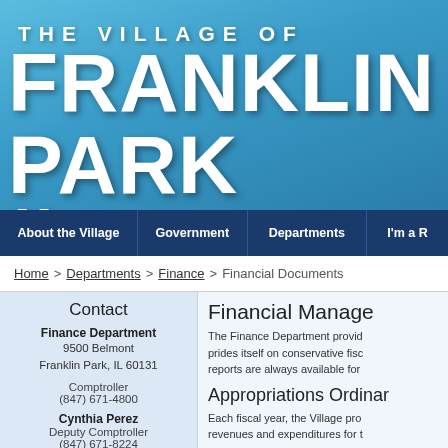THE VILLAGE OF FRANKLIN PARK IL
About the Village | Government | Departments | I'm a R
Home > Departments > Finance > Financial Documents
Contact
Finance Department
9500 Belmont
Franklin Park, IL 60131
Comptroller
(847) 671-4800
Cynthia Perez
Deputy Comptroller
(847) 671-8224
Email Cynthia Perez
Financial Manage
The Finance Department provid prides itself on conservative fisc reports are always available for
Appropriations Ordinar
Each fiscal year, the Village pro revenues and expenditures for t
Fiscal Year 2022 Appropriatio
Fiscal Year 2021 Appropriatio
Fiscal Year 2020 Appropriatio
Fiscal Year 2019 Appropriatio
Fiscal Year 2018 Appropriatio